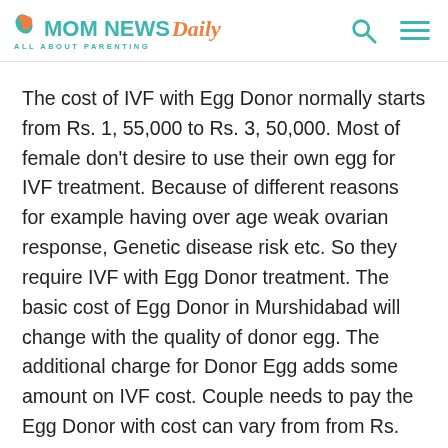MOM NEWS Daily — ALL ABOUT PARENTING
The cost of IVF with Egg Donor normally starts from Rs. 1, 55,000 to Rs. 3, 50,000. Most of female don't desire to use their own egg for IVF treatment. Because of different reasons for example having over age weak ovarian response, Genetic disease risk etc. So they require IVF with Egg Donor treatment. The basic cost of Egg Donor in Murshidabad will change with the quality of donor egg. The additional charge for Donor Egg adds some amount on IVF cost. Couple needs to pay the Egg Donor with cost can vary from from Rs. 30,000